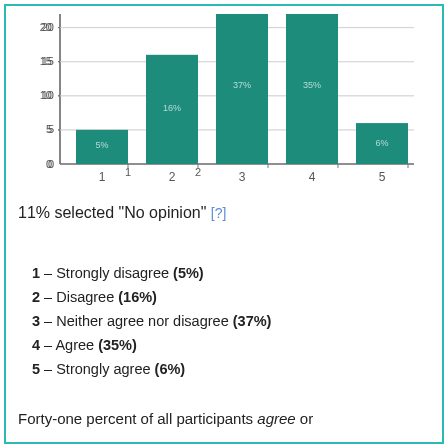[Figure (bar-chart): ]
11% selected "No opinion" [?]
1 – Strongly disagree (5%)
2 – Disagree (16%)
3 – Neither agree nor disagree (37%)
4 – Agree (35%)
5 – Strongly agree (6%)
Forty-one percent of all participants agree or